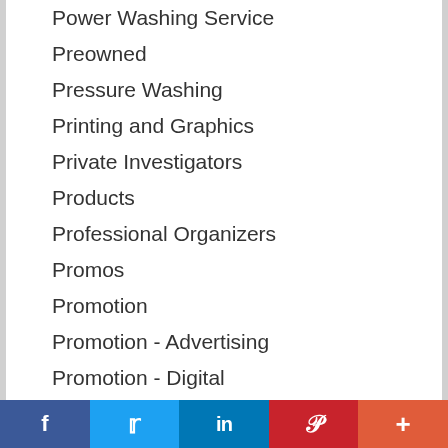Power Washing Service
Preowned
Pressure Washing
Printing and Graphics
Private Investigators
Products
Professional Organizers
Promos
Promotion
Promotion - Advertising
Promotion - Digital
Promotion- Self-serve
Promotional Products